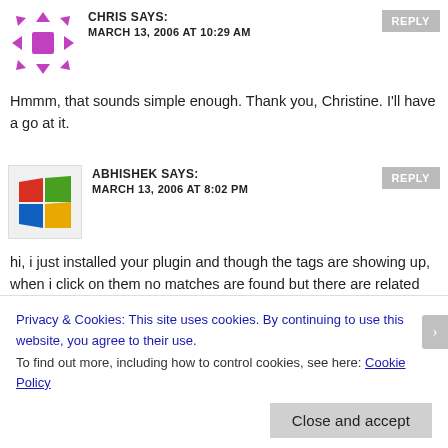[Figure (illustration): Purple/magenta avatar icon with arrows pointing in multiple directions (move/arrows icon) on white background]
CHRIS SAYS:
MARCH 13, 2006 AT 10:29 AM
REPLY
Hmmm, that sounds simple enough. Thank you, Christine. I'll have a go at it.
[Figure (illustration): Windows logo icon (colorful four-pane window) on light grey background]
ABHISHEK SAYS:
MARCH 13, 2006 AT 8:02 PM
REPLY
hi, i just installed your plugin and though the tags are showing up, when i click on them no matches are found but there are related posts. also when i try to get the tag cloud, it says that UTW is not active. please help! thanks.
Privacy & Cookies: This site uses cookies. By continuing to use this website, you agree to their use.
To find out more, including how to control cookies, see here: Cookie Policy
Close and accept